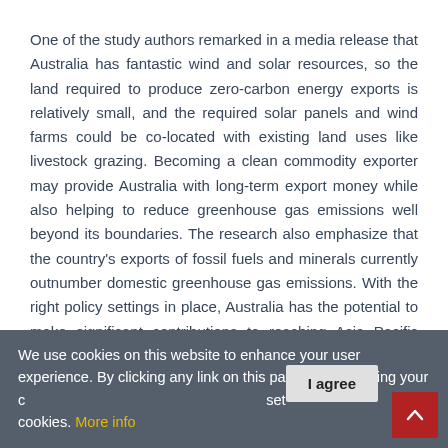One of the study authors remarked in a media release that Australia has fantastic wind and solar resources, so the land required to produce zero-carbon energy exports is relatively small, and the required solar panels and wind farms could be co-located with existing land uses like livestock grazing. Becoming a clean commodity exporter may provide Australia with long-term export money while also helping to reduce greenhouse gas emissions well beyond its boundaries. The research also emphasize that the country's exports of fossil fuels and minerals currently outnumber domestic greenhouse gas emissions. With the right policy settings in place, Australia has the potential to make significant contributions to reaching Asia Pacific sustainable development goals, especially for remote Aboriginal communities in Australia.
We use cookies on this website to enhance your user experience. By clicking any link on this page you are giving your consent for us to set cookies. More info